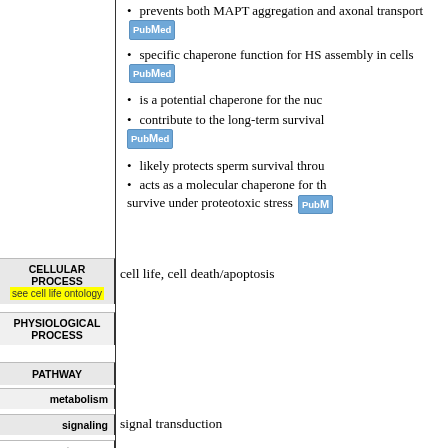prevents both MAPT aggregation and axonal transport [PubMed]
specific chaperone function for HSP assembly in cells [PubMed]
is a potential chaperone for the nucleus
contribute to the long-term survival [PubMed]
likely protects sperm survival through
acts as a molecular chaperone for those survive under proteotoxic stress [PubMed]
| Category | Value |
| --- | --- |
| CELLULAR PROCESS
see cell life ontology | cell life, cell death/apoptosis |
| PHYSIOLOGICAL PROCESS |  |
| PATHWAY |  |
| metabolism |  |
| signaling | signal transduction |
| a component |  |
| INTERACTION |  |
| DNA |  |
| RNA |  |